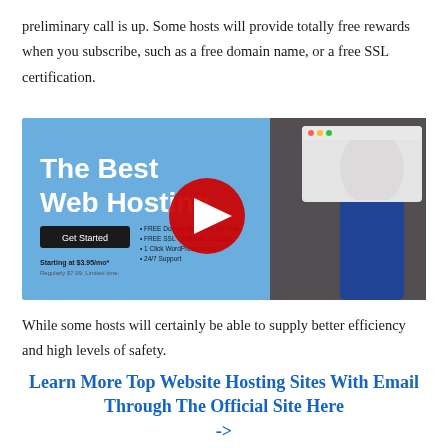preliminary call is up. Some hosts will provide totally free rewards when you subscribe, such as a free domain name, or a free SSL certification.
[Figure (screenshot): A YouTube video thumbnail showing a web hosting advertisement. Left side has a blue background with white bold text 'The Best Web Hosting', a 'Get Started' button, and pricing starting at $3.95/mo. A red YouTube play button circle is in the center. Right side shows a man with an afro hairstyle wearing a floral shirt.]
While some hosts will certainly be able to supply better efficiency and high levels of safety.
Learn More Top Website Hosting Sites With Email Through The Official Site Here ->